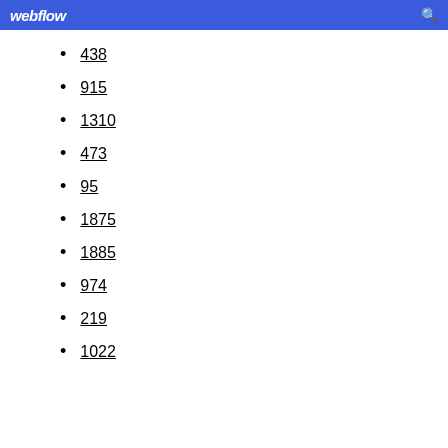webflow
438
915
1310
473
95
1875
1885
974
219
1022